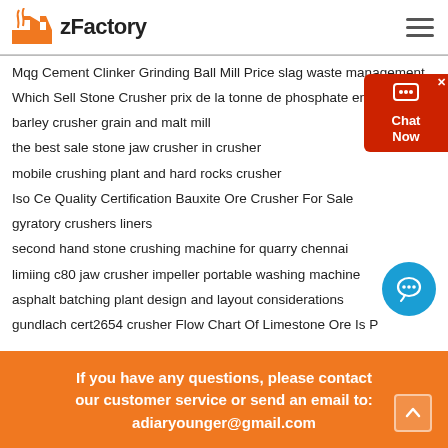zFactory
Mqg Cement Clinker Grinding Ball Mill Price slag waste management
Which Sell Stone Crusher prix de la tonne de phosphate en 2014
barley crusher grain and malt mill
the best sale stone jaw crusher in crusher
mobile crushing plant and hard rocks crusher
Iso Ce Quality Certification Bauxite Ore Crusher For Sale
gyratory crushers liners
second hand stone crushing machine for quarry chennai
limiing c80 jaw crusher impeller portable washing machine
asphalt batching plant design and layout considerations
gundlach cert2654 crusher Flow Chart Of Limestone Ore Is P
grinder pulverizer spices
If you have any questions, please contact our customer service or send an email to: adiaryounger@gmail.com